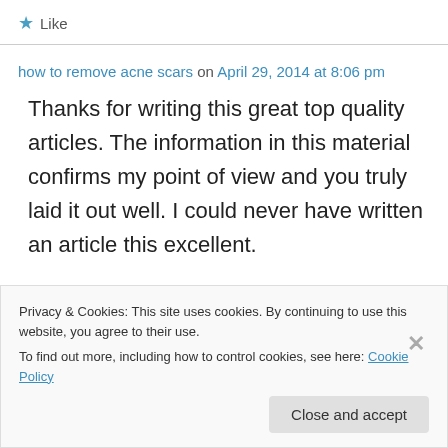★ Like
how to remove acne scars on April 29, 2014 at 8:06 pm
Thanks for writing this great top quality articles. The information in this material confirms my point of view and you truly laid it out well. I could never have written an article this excellent.
Privacy & Cookies: This site uses cookies. By continuing to use this website, you agree to their use.
To find out more, including how to control cookies, see here: Cookie Policy
Close and accept